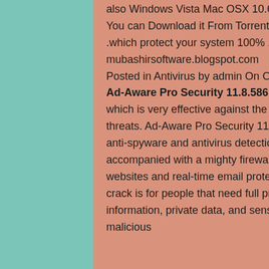also Windows Vista Mac OSX 10.6Windows 10
You can Download it From Torrent file .Which is Best Antivirus Software .which protect your system 100% .Download it From mubashirsoftware.blogspot.com
Posted in Antivirus by admin On October 12, 2015. 1 Comment
Ad-Aware Pro Security 11.8.586 + Key is a potent antivirus software which is very effective against the most dangerous malwares and cyber threats. Ad-Aware Pro Security 11.8 full provides the user with the best anti-spyware and antivirus detection and threat blocking technologies, accompanied with a mighty firewall & web filters against phishing websites and real-time email protection. Ad-Aware Pro Security 11.8 + crack is for people that need full protection for their computer, personal information, private data, and sensitive banking details against malicious